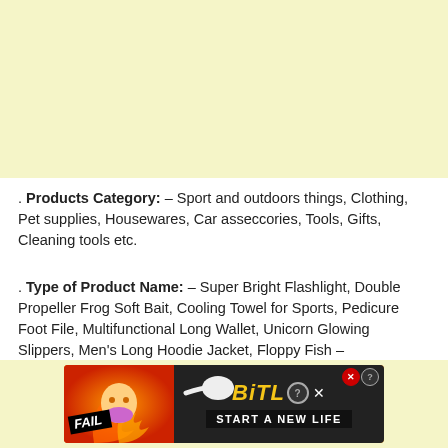[Figure (other): Yellow/cream colored advertisement banner placeholder at top of page]
. Products Category: – Sport and outdoors things, Clothing, Pet supplies, Housewares, Car asseccories, Tools, Gifts, Cleaning tools etc.
. Type of Product Name: – Super Bright Flashlight, Double Propeller Frog Soft Bait, Cooling Towel for Sports, Pedicure Foot File, Multifunctional Long Wallet, Unicorn Glowing Slippers, Men's Long Hoodie Jacket, Floppy Fish –
[Figure (other): BitLife advertisement banner: red/orange flame background with FAIL badge, cartoon character, sperm graphic, BitLife logo and START A NEW LIFE tagline]